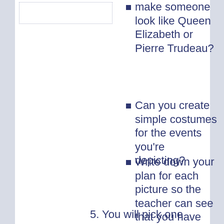[Figure (other): Empty dotted-border rectangle placeholder image box]
make someone look like Queen Elizabeth or Pierre Trudeau?
Can you create simple costumes for the events you're depicting?
Write down your plan for each picture so the teacher can see that you have ideas that make sense.
5. You will pick one